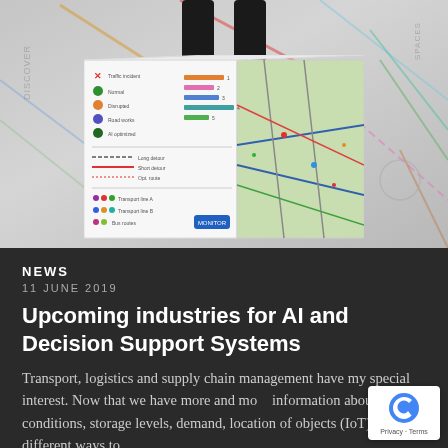[Figure (photo): A person standing on a cube/box that displays a legend/chart on its left face and a route map on its right face. Background shows a faint transportation network map. The person's legs and black shoes are visible from mid-thigh down.]
NEWS
11 JUNE 2019
Upcoming industries for AI and Decision Support Systems
Transport, logistics and supply chain management have my special interest. Now that we have more and more information about travel conditions, storage levels, demand, location of objects (IoT) and different ways to